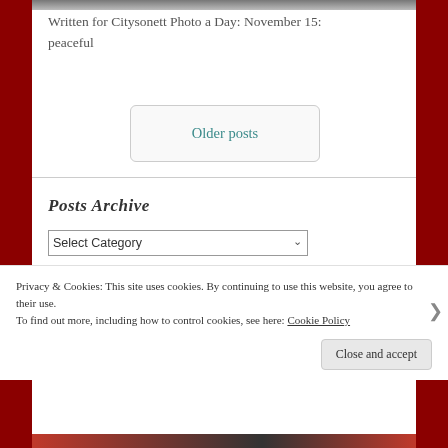[Figure (photo): Partial top strip of a mountain/landscape photo]
Written for Citysonett Photo a Day: November 15: peaceful
Older posts
Posts Archive
Select Category
Privacy & Cookies: This site uses cookies. By continuing to use this website, you agree to their use.
To find out more, including how to control cookies, see here: Cookie Policy
Close and accept